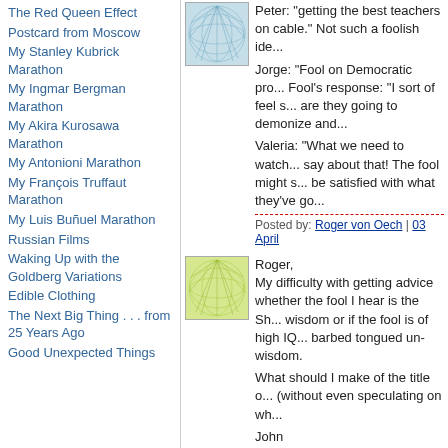The Red Queen Effect
Postcard from Moscow
My Stanley Kubrick Marathon
My Ingmar Bergman Marathon
My Akira Kurosawa Marathon
My Antonioni Marathon
My François Truffaut Marathon
My Luis Buñuel Marathon
Russian Films
Waking Up with the Goldberg Variations
Edible Clothing
The Next Big Thing . . . from 25 Years Ago
Good Unexpected Things
[Figure (illustration): Blue/teal abstract circular pattern avatar]
Peter: "getting the best teachers on cable." Not such a foolish ide...
Jorge: "Fool on Democratic pro... Fool's response: "I sort of feel s... are they going to demonize and...
Valeria: "What we need to watch... say about that! The fool might s... be satisfied with what they've go...
Posted by: Roger von Oech | 03 April
[Figure (illustration): Yellow/green abstract circular pattern avatar]
Roger,
My difficulty with getting advice whether the fool I hear is the Sh... wisdom or if the fool is of high IQ... barbed tongued un-wisdom.

What should I make of the title o... (without even speculating on wh...

John
Posted by: Shakespeare's Fool | 08 Ap...